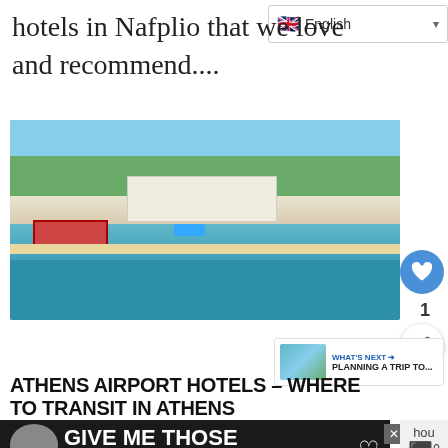English
hotels in Nafplio that we love and recommend....
[Figure (photo): Aerial view of a large coastal hotel resort in Nafplio, Greece, with tennis courts, swimming pool, beach, and turquoise sea water visible.]
ATHENS AIRPORT HOTELS – WHERE TO TRANSIT IN ATHENS
[Figure (photo): Advertisement banner with dark background showing a dog and text: GIVE ME THOSE PUPPY DOG EYES with a heart icon]